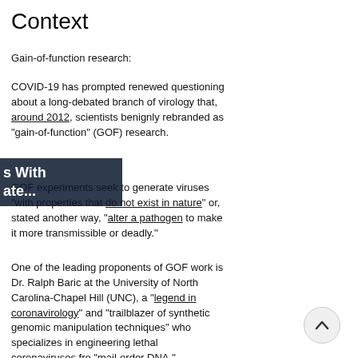Context
Gain-of-function research:
COVID-19 has prompted renewed questioning about a long-debated branch of virology that, around 2012, scientists benignly rebranded as “gain-of-function” (GOF) research.
GOF experiments seek to generate viruses “with properties that do not exist in nature” or, stated another way, “alter a pathogen to make it more transmissible or deadly.”
One of the leading proponents of GOF work is Dr. Ralph Baric at the University of North Carolina-Chapel Hill (UNC), a “legend in coronavirology” and “trailblazer of synthetic genomic manipulation techniques” who specializes in engineering lethal coronaviruses from “mail-order DNA.”
[Figure (photo): Teal/blue colored virus particles on dark background, right side of page top half]
[Figure (photo): Colorful DNA strand illustration (blue, pink, teal) on dark background, right side of page bottom half]